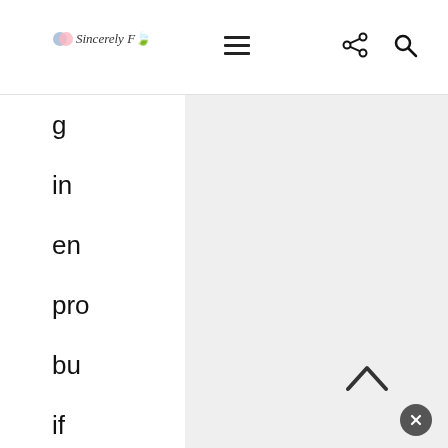Sincerely Fro — navigation header with hamburger menu, share icon, and search icon
g
in
en
pro
bu
if
yo
the
yo
pro
he
rec
to
be
ge
en